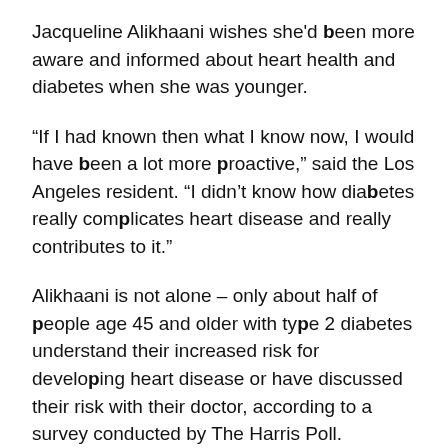Jacqueline Alikhaani wishes she'd been more aware and informed about heart health and diabetes when she was younger.
“If I had known then what I know now, I would have been a lot more proactive,” said the Los Angeles resident. “I didn’t know how diabetes really complicates heart disease and really contributes to it.”
Alikhaani is not alone – only about half of people age 45 and older with type 2 diabetes understand their increased risk for developing heart disease or have discussed their risk with their doctor, according to a survey conducted by The Harris Poll.